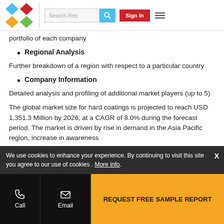Search Rep | Sign In
portfolio of each company
Regional Analysis
Further breakdown of a region with respect to a particular country
Company Information
Detailed analysis and profiling of additional market players (up to 5)
The global market size for hard coatings is projected to reach USD 1,351.3 Million by 2026, at a CAGR of 8.0% during the forecast period. The market is driven by rise in demand in the Asia Pacific region, increase in awareness
We use cookies to enhance your experience. By continuing to visit this site you agree to our use of cookies . More info.
Call | Email | REQUEST FREE SAMPLE REPORT